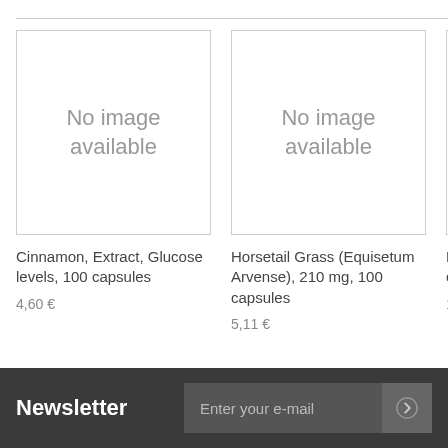[Figure (other): Product image placeholder box with text 'No image available']
Cinnamon, Extract, Glucose levels, 100 capsules
4,60 €
[Figure (other): Product image placeholder box with text 'No image available']
Horsetail Grass (Equisetum Arvense), 210 mg, 100 capsules
5,11 €
[Figure (other): Partial product image placeholder box (cropped)]
Nat clay
1,02
Newsletter
Enter your e-mail